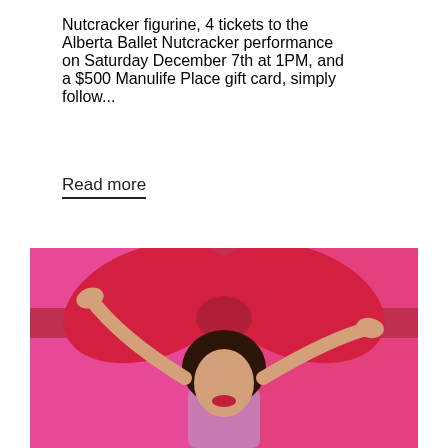Nutcracker figurine, 4 tickets to the Alberta Ballet Nutcracker performance on Saturday December 7th at 1PM, and a $500 Manulife Place gift card, simply follow...
Read more
[Figure (photo): A woman with long dark hair and red lipstick posing with her hands raised above her head against a bright pink/magenta background with a large red bow/ribbon decoration.]